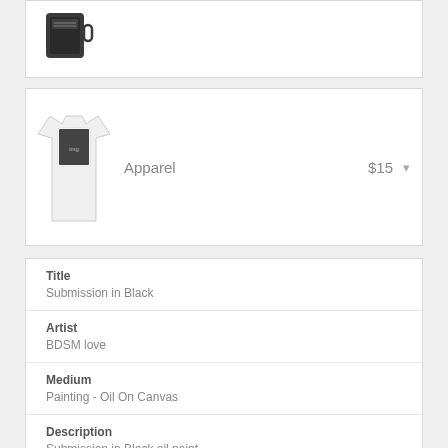[Figure (photo): Black mug product image, partially visible at top]
[Figure (photo): White t-shirt with black graphic print]
Apparel
$15
| Title | Submission in Black |
| Artist | BDSM love |
| Medium | Painting - Oil On Canvas |
| Description | Submission in Black oil paint |
| Uploaded | May 17th, 2016 |